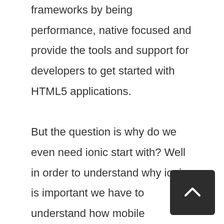frameworks by being performance, native focused and provide the tools and support for developers to get started with HTML5 applications.

But the question is why do we even need ionic start with? Well in order to understand why ionic is important we have to understand how mobile applications are built. If you ever developed a mobile application on a native device like android or IOS you by default get a native SDK that you can work with. This SDK